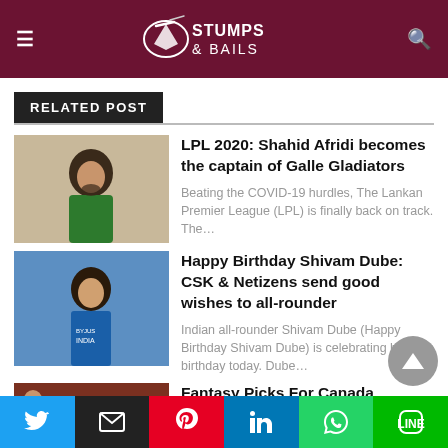Stumps & Bails
RELATED POST
LPL 2020: Shahid Afridi becomes the captain of Galle Gladiators
Beating the COVID-19 hurdles, The Lankan Premier League (LPL) is finally back on track. The…
Happy Birthday Shivam Dube: CSK & Netizens send good wishes to all-rounder
Indian all-rounder Shivam Dube (Happy Birthday Shivam Dube) is celebrating his 29th birthday today. Dube…
Fantasy Picks For Canada Vs Combined Campuses And Colleges | Super 50 Cup
Twitter | Email | Pinterest | LinkedIn | WhatsApp | LINE